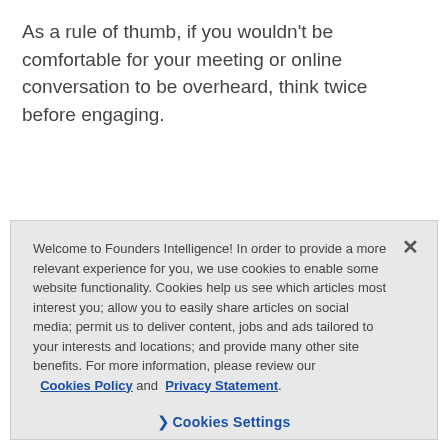As a rule of thumb, if you wouldn't be comfortable for your meeting or online conversation to be overheard, think twice before engaging.
Equally, we foster an environment where colleagues should feel empowered to highlight behaviour that
Welcome to Founders Intelligence! In order to provide a more relevant experience for you, we use cookies to enable some website functionality. Cookies help us see which articles most interest you; allow you to easily share articles on social media; permit us to deliver content, jobs and ads tailored to your interests and locations; and provide many other site benefits. For more information, please review our Cookies Policy and Privacy Statement.
Cookies Settings